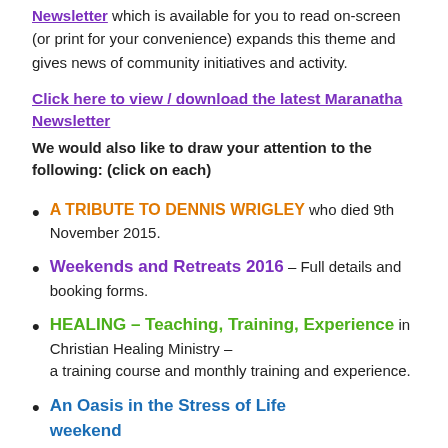Newsletter which is available for you to read on-screen (or print for your convenience) expands this theme and gives news of community initiatives and activity.
Click here to view / download the latest Maranatha Newsletter
We would also like to draw your attention to the following: (click on each)
A TRIBUTE TO DENNIS WRIGLEY who died 9th November 2015.
Weekends and Retreats 2016 – Full details and booking forms.
HEALING – Teaching, Training, Experience in Christian Healing Ministry – a training course and monthly training and experience.
An Oasis in the Stress of Life weekend